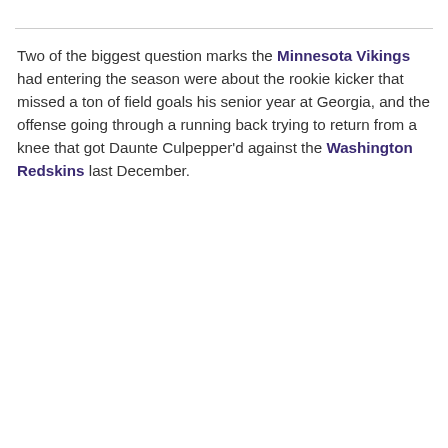Two of the biggest question marks the Minnesota Vikings had entering the season were about the rookie kicker that missed a ton of field goals his senior year at Georgia, and the offense going through a running back trying to return from a knee that got Daunte Culpepper'd against the Washington Redskins last December.